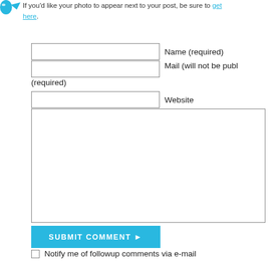If you'd like your photo to appear next to your post, be sure to get here.
[Figure (illustration): Blue gravatar/avatar bird icon in top-left corner]
Name (required)
Mail (will not be published) (required)
Website
SUBMIT COMMENT ▶
Notify me of followup comments via e-mail